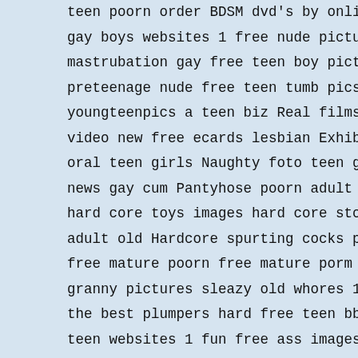teen poorn order BDSM dvd's by online check xxx lesbian fet
gay boys websites 1 free nude pictures teen cum mpeg free t
mastrubation gay free teen boy pictures shaved teen a teen
preteenage nude free teen tumb pics teen fucking preeteen r
youngteenpics a teen biz Real films Free new hard movies ha
video new free ecards lesbian Exhibition lesbian cartoon le
oral teen girls Naughty foto teen girls clips love teen gir
news gay cum Pantyhose poorn adult priceless humor pictures
hard core toys images hard core stories fuck hard core mann
adult old Hardcore spurting cocks photography jolietmunity
free mature poorn free mature porm sluts tarts free sexpic
granny pictures sleazy old whores 1 teen Best of the best t
the best plumpers hard free teen bbw galleries big dildos a
teen websites 1 fun free ass images ass webcams anal ass st
pictures frree nude big tit fuck hot free teen movie clips